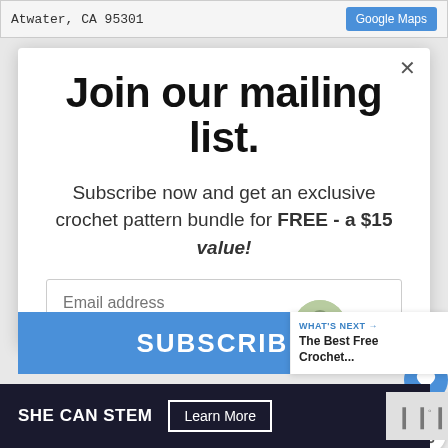Atwater, CA 95301
Google Maps
Join our mailing list.
Subscribe now and get an exclusive crochet pattern bundle for FREE - a $15 value!
Email address
SUBSCRIBE
WHAT'S NEXT → The Best Free Crochet...
SHE CAN STEM
Learn More